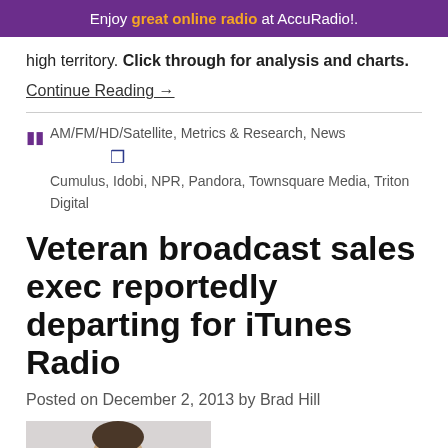Enjoy great online radio at AccuRadio!.
high territory. Click through for analysis and charts.
Continue Reading →
AM/FM/HD/Satellite, Metrics & Research, News   Cumulus, Idobi, NPR, Pandora, Townsquare Media, Triton Digital
Veteran broadcast sales exec reportedly departing for iTunes Radio
Posted on December 2, 2013 by Brad Hill
[Figure (photo): Headshot photo of a man, cropped showing face and upper shoulders against a light background]